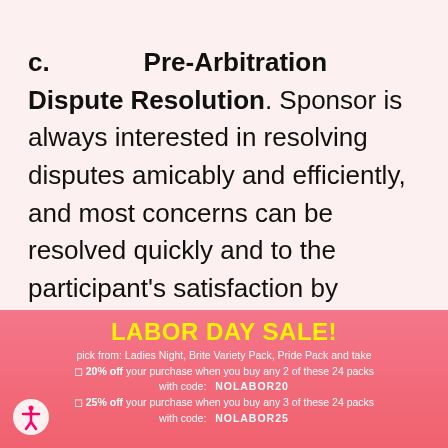c. Pre-Arbitration Dispute Resolution. Sponsor is always interested in resolving disputes amicably and efficiently, and most concerns can be resolved quickly and to the participant's satisfaction by emailing customer support at support@drinkbev.com. If such efforts prove unsuccessful, a
[Figure (infographic): Labor Day Sale promotional banner with yellow title text 'LABOR DAY SALE!', discount offer details for 20% off with code NOLABOR20 and 25% off with code NOLABOR25, and accessibility icon in bottom left corner.]